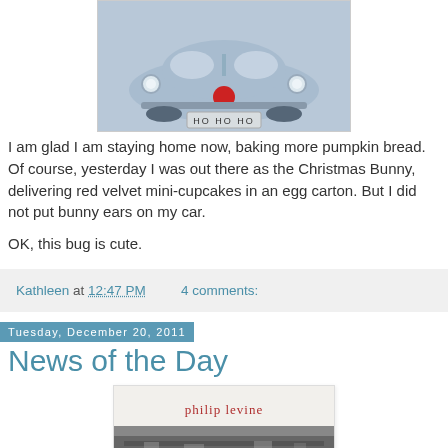[Figure (photo): Front view of a blue VW Beetle car with a red clown nose and a license plate reading HO HO HO]
I am glad I am staying home now, baking more pumpkin bread. Of course, yesterday I was out there as the Christmas Bunny, delivering red velvet mini-cupcakes in an egg carton. But I did not put bunny ears on my car.
OK, this bug is cute.
Kathleen at 12:47 PM    4 comments:
Tuesday, December 20, 2011
News of the Day
[Figure (photo): Book cover showing 'philip levine' in red text on a light background above a black and white crowd photo]